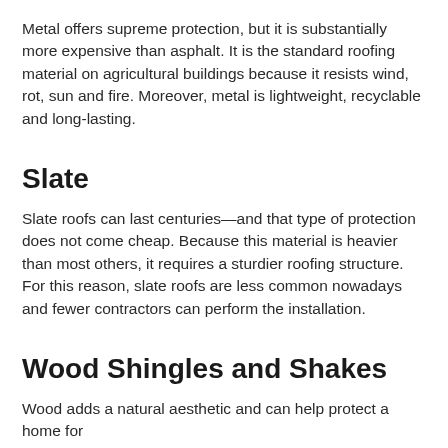Metal offers supreme protection, but it is substantially more expensive than asphalt. It is the standard roofing material on agricultural buildings because it resists wind, rot, sun and fire. Moreover, metal is lightweight, recyclable and long-lasting.
Slate
Slate roofs can last centuries—and that type of protection does not come cheap. Because this material is heavier than most others, it requires a sturdier roofing structure. For this reason, slate roofs are less common nowadays and fewer contractors can perform the installation.
Wood Shingles and Shakes
Wood adds a natural aesthetic and can help protect a home for